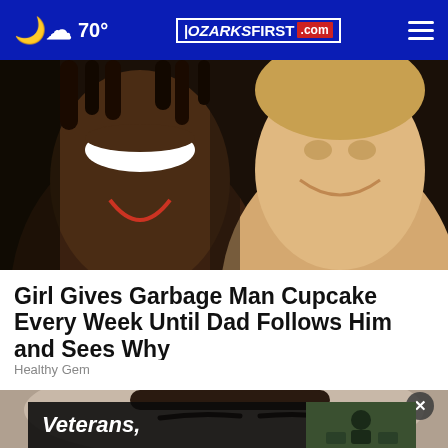70° | OZARKSFIRST.com
[Figure (photo): A smiling Black man with dreadlocks and a young blonde toddler smiling together in a close-up photo]
Girl Gives Garbage Man Cupcake Every Week Until Dad Follows Him and Sees Why
Healthy Gem
[Figure (photo): Close-up of a dark-haired woman's face, partially visible, with an ad overlay reading 'Veterans,' and a small inset image of a person at a table, with an X close button]
Veterans,